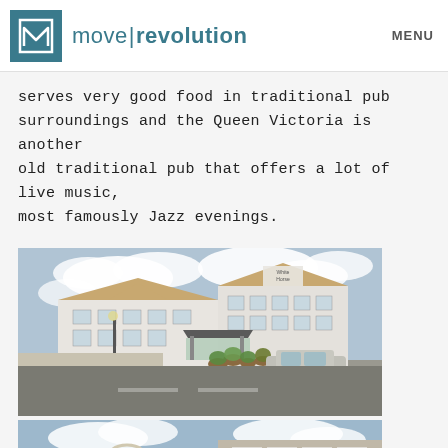move|revolution  MENU
serves very good food in traditional pub surroundings and the Queen Victoria is another old traditional pub that offers a lot of live music, most famously Jazz evenings.
[Figure (photo): Exterior photograph of a white multi-storey pub building called White Horse, with a car park in the foreground, potted plants, a small covered entrance, and a parked silver hatchback car. Cloudy sky above.]
[Figure (photo): Partial exterior view of a traditional stone building with white-framed windows and arched doorway, with a cloudy sky background.]